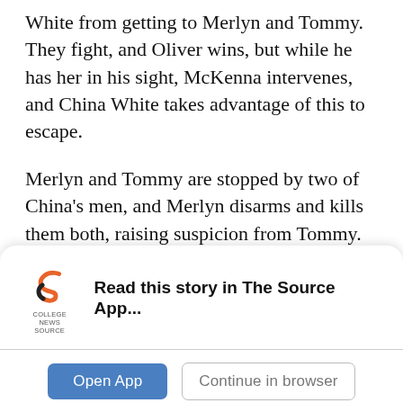White from getting to Merlyn and Tommy. They fight, and Oliver wins, but while he has her in his sight, McKenna intervenes, and China White takes advantage of this to escape.
Merlyn and Tommy are stopped by two of China's men, and Merlyn disarms and kills them both, raising suspicion from Tommy. They get to his office, but Merlyn gets shot by Deadshot. He had a bullet proof vest, but the bullet pierced it, and Deadshot uses poison in his bullets. With his life hanging in the balance, Oliver comes in to save Tommy's father in his Hood disguise. Tommy
[Figure (logo): College News Source logo — stylized orange 'S' with text 'COLLEGE NEWS SOURCE' below]
Read this story in The Source App...
Open App
Continue in browser